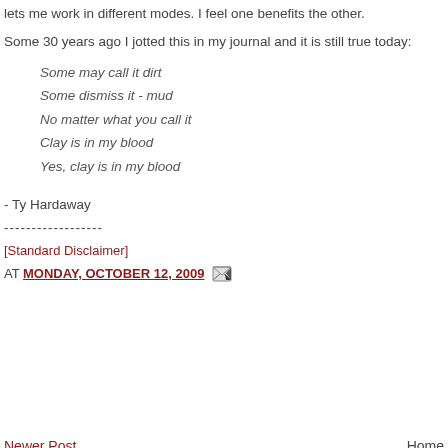lets me work in different modes. I feel one benefits the other.
Some 30 years ago I jotted this in my journal and it is still true today:
Some may call it dirt
Some dismiss it - mud
No matter what you call it
Clay is in my blood
Yes, clay is in my blood
- Ty Hardaway
------------------
[Standard Disclaimer]
AT MONDAY, OCTOBER 12, 2009
Newer Post   Home